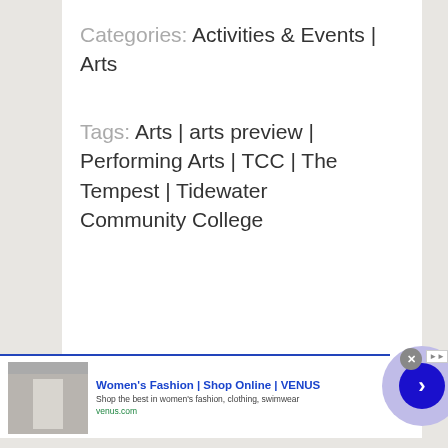Categories: Activities & Events | Arts
Tags: Arts | arts preview | Performing Arts | TCC | The Tempest | Tidewater Community College
[Figure (screenshot): Advertisement banner for Women's Fashion | Shop Online | VENUS with product image, text description, and navigation arrow button]